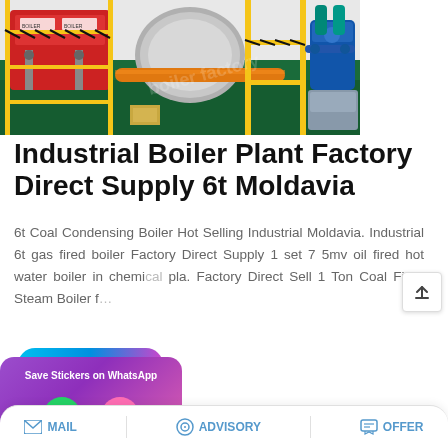[Figure (photo): Industrial boiler plant machinery photograph showing red and yellow industrial boilers/equipment in a factory setting with yellow pipe infrastructure and green floor]
Industrial Boiler Plant Factory Direct Supply 6t Moldavia
6t Coal Condensing Boiler Hot Selling Industrial Moldavia. Industrial 6t gas fired boiler Factory Direct Supply 1 set 7 5mv oil fired hot water boiler in chemical pla. Factory Direct Sell 1 Ton Coal Fired Steam Boiler f…
MAIL   ADVISORY   OFFER